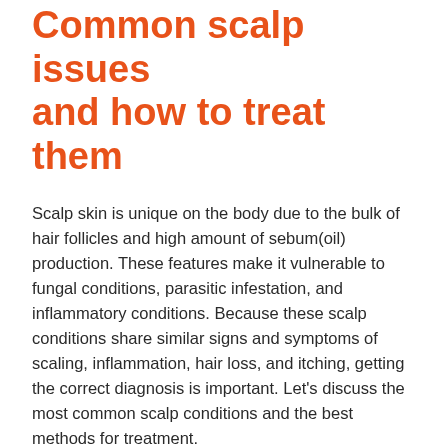Common scalp issues and how to treat them
Scalp skin is unique on the body due to the bulk of hair follicles and high amount of sebum(oil) production. These features make it vulnerable to fungal conditions, parasitic infestation, and inflammatory conditions. Because these scalp conditions share similar signs and symptoms of scaling, inflammation, hair loss, and itching, getting the correct diagnosis is important. Let's discuss the most common scalp conditions and the best methods for treatment.
1. Psoriasis: Pink plaques with silvery scales
Psoriasis is an autoimmune condition where the cells are in overdrive leading to a build up of skin cells creating scaly patches that can itch, hurt and even bleed. The